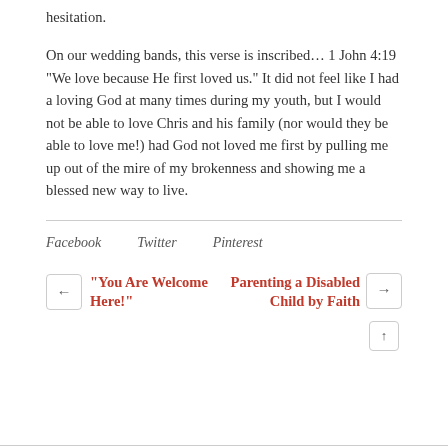hesitation.
On our wedding bands, this verse is inscribed… 1 John 4:19 "We love because He first loved us." It did not feel like I had a loving God at many times during my youth, but I would not be able to love Chris and his family (nor would they be able to love me!) had God not loved me first by pulling me up out of the mire of my brokenness and showing me a blessed new way to live.
Facebook   Twitter   Pinterest
← "You Are Welcome Here!"
Parenting a Disabled Child by Faith →